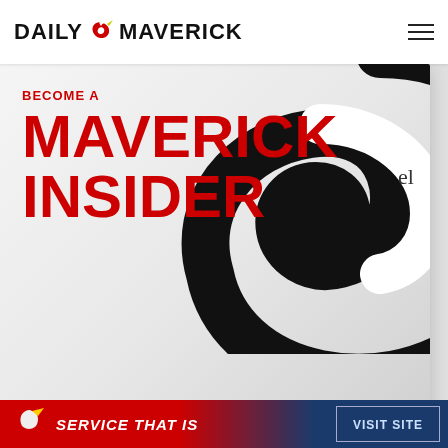DAILY MAVERICK
[Figure (illustration): Become a Maverick Insider promotional banner with large red text on grey background and a large black swirl/yin-yang logo on the right side]
This could have been a paywall
On another site this would have been a paywall. Maverick Insider keeps our content free for all.
Become an Insider
SERVICE THAT IS   VISIT SITE